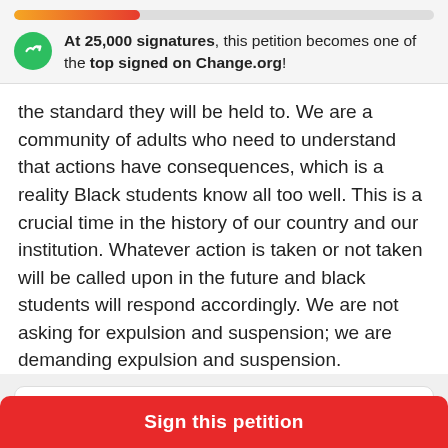[Figure (infographic): Progress bar showing petition signature progress, gradient from orange to red, approximately 30% filled]
At 25,000 signatures, this petition becomes one of the top signed on Change.org!
the standard they will be held to. We are a community of adults who need to understand that actions have consequences, which is a reality Black students know all too well. This is a crucial time in the history of our country and our institution. Whatever action is taken or not taken will be called upon in the future and black students will respond accordingly. We are not asking for expulsion and suspension; we are demanding expulsion and suspension.
Start a petition of your own
Sign this petition